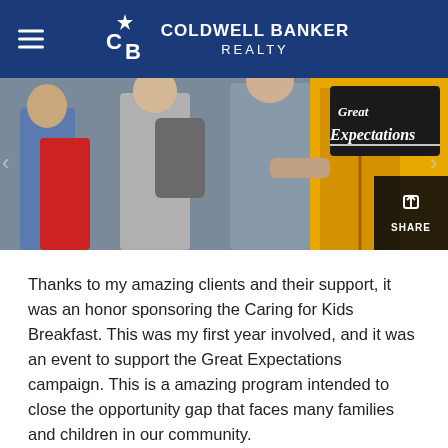COLDWELL BANKER REALTY
[Figure (photo): Students with backpacks boarding a school bus; a chalkboard sign reading 'Great Expectations' is visible on the right side of the image.]
Thanks to my amazing clients and their support, it was an honor sponsoring the Caring for Kids Breakfast. This was my first year involved, and it was an event to support the Great Expectations campaign. This is a amazing program intended to close the opportunity gap that faces many families and children in our community.